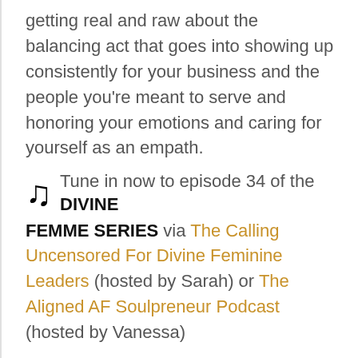getting real and raw about the balancing act that goes into showing up consistently for your business and the people you’re meant to serve and honoring your emotions and caring for yourself as an empath.
🎵 Tune in now to episode 34 of the DIVINE FEMME SERIES via The Calling Uncensored For Divine Feminine Leaders (hosted by Sarah) or The Aligned AF Soulpreneur Podcast (hosted by Vanessa)
⇒ CLICK HERE for our ABC To 5-Figure Months masterclass to help you scale your IMPACT as a divine feminine leader + create your dream